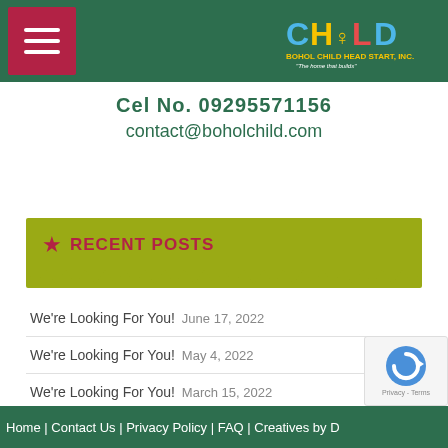[Figure (logo): CHILD Bohol Child Head Start Inc. logo with colorful letters and tagline]
Cel No. 09295571156
contact@boholchild.com
RECENT POSTS
We're Looking For You! June 17, 2022
We're Looking For You! May 4, 2022
We're Looking For You! March 15, 2022
We're Looking For You! May 5, 2021
Enrollment SY 2021 – 20200 May 4, 2021
Home | Contact Us | Privacy Policy | FAQ | Creatives by D…